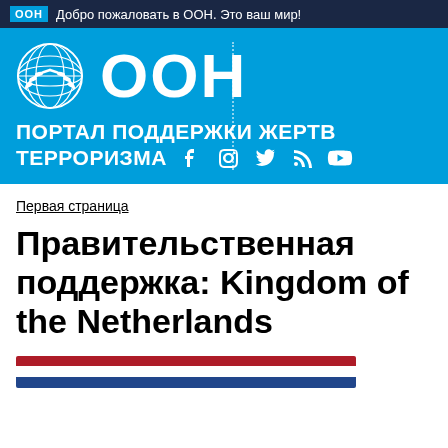ООН  Добро пожаловать в ООН. Это ваш мир!
[Figure (logo): UN emblem and ООН logo on blue banner with text ПОРТАЛ ПОДДЕРЖКИ ЖЕРТВ ТЕРРОРИЗМА and social media icons]
Первая страница
Правительственная поддержка: Kingdom of the Netherlands